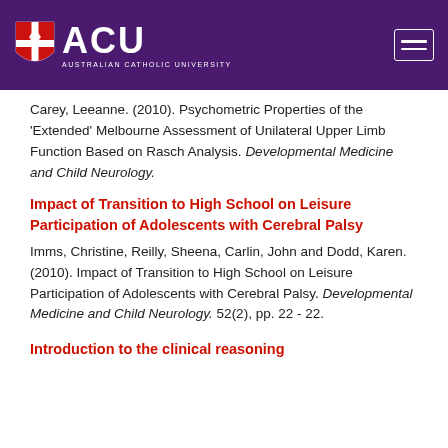[Figure (logo): ACU Australian Catholic University logo with shield on purple header bar with hamburger menu icon]
Carey, Leeanne. (2010). Psychometric Properties of the 'Extended' Melbourne Assessment of Unilateral Upper Limb Function Based on Rasch Analysis. Developmental Medicine and Child Neurology.
Impact of Transition to High School on Leisure Participation of Adolescents with Cerebral Palsy
Imms, Christine, Reilly, Sheena, Carlin, John and Dodd, Karen. (2010). Impact of Transition to High School on Leisure Participation of Adolescents with Cerebral Palsy. Developmental Medicine and Child Neurology. 52(2), pp. 22 - 22.
Introduction to the clinical reasoning